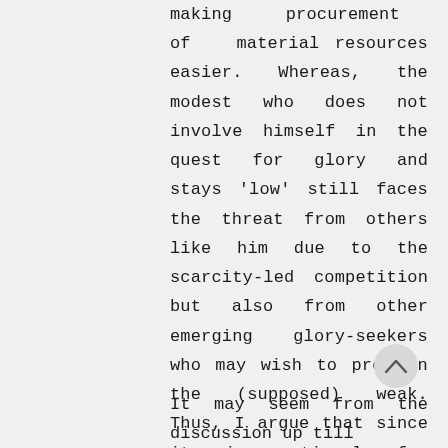making procurement of material resources easier. Whereas, the modest who does not involve himself in the quest for glory and stays 'low' still faces the threat from others like him due to the scarcity-led competition but also from other emerging glory-seekers who may wish to prey on the (supposed) weak. Thus, I argue that since it is rational for individuals in the state of nature to seek glory due to the advantages it entails, it leads to a perpetual state of war.
It may seem from the discussion up till